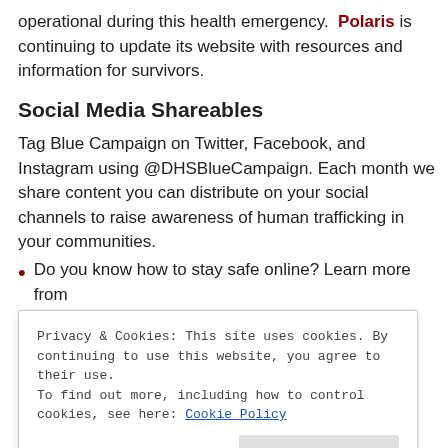operational during this health emergency. Polaris is continuing to update its website with resources and information for survivors.
Social Media Shareables
Tag Blue Campaign on Twitter, Facebook, and Instagram using @DHSBlueCampaign. Each month we share content you can distribute on your social channels to raise awareness of human trafficking in your communities.
Do you know how to stay safe online? Learn more from @DHSBlueCampaign https://bit.ly/2xhHBIW
Privacy & Cookies: This site uses cookies. By continuing to use this website, you agree to their use.
To find out more, including how to control cookies, see here: Cookie Policy
Close and accept
https://bit.ly/2xhHBIW